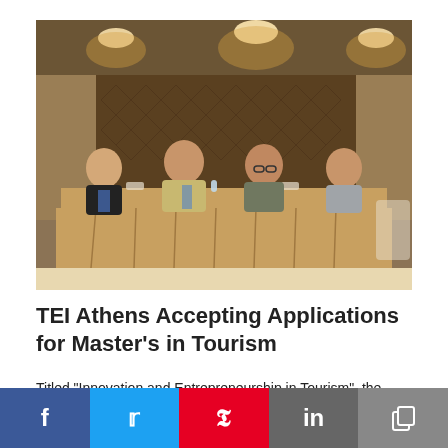[Figure (photo): Four men in formal attire seated behind a table with a draped cloth, in a conference or hotel banquet room setting with warm lighting and decorative wall panels.]
TEI Athens Accepting Applications for Master’s in Tourism
Titled “Innovation and Entrepreneurship in Tourism”, the Master’s studies program is a collaborative effort
Facebook | Twitter | Pinterest | LinkedIn | Copy